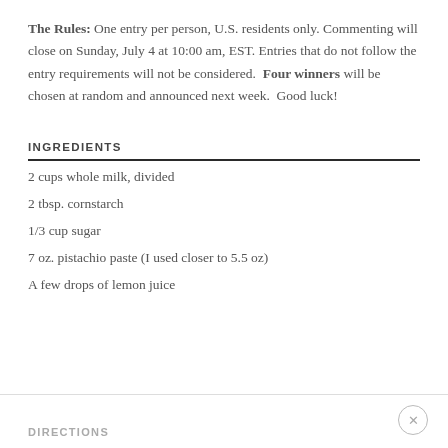The Rules: One entry per person, U.S. residents only. Commenting will close on Sunday, July 4 at 10:00 am, EST. Entries that do not follow the entry requirements will not be considered. Four winners will be chosen at random and announced next week. Good luck!
INGREDIENTS
2 cups whole milk, divided
2 tbsp. cornstarch
1/3 cup sugar
7 oz. pistachio paste (I used closer to 5.5 oz)
A few drops of lemon juice
DIRECTIONS